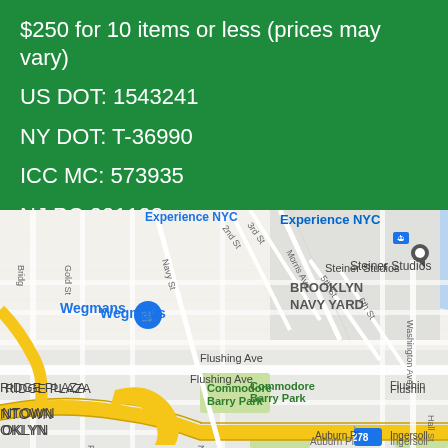$250 for 10 items or less (prices may vary)
US DOT: 1543241
NY DOT: T-36990
ICC MC: 573935
NJ PC 001103
[Figure (map): Google Maps view showing Brooklyn Navy Yard area in Brooklyn, New York, with Wegmans, Steiner Studios, Commodore Barry Park, Flushing Ave, and highway 278 visible.]